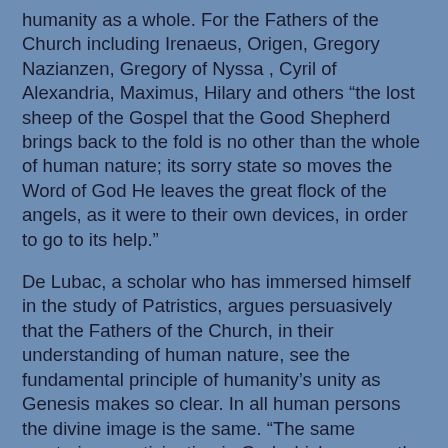humanity as a whole. For the Fathers of the Church including Irenaeus, Origen, Gregory Nazianzen, Gregory of Nyssa , Cyril of Alexandria, Maximus, Hilary and others “the lost sheep of the Gospel that the Good Shepherd brings back to the fold is no other than the whole of human nature; its sorry state so moves the Word of God He leaves the great flock of the angels, as it were to their own devices, in order to go to its help.”
De Lubac, a scholar who has immersed himself in the study of Patristics, argues persuasively that the Fathers of the Church, in their understanding of human nature, see the fundamental principle of humanity’s unity as Genesis makes so clear. In all human persons the divine image is the same. “The same mysterious participation in God which causes the soul to exist effects at one and the same time the unity of spirits among themselves. Whence comes the notion, so beloved of Augustinianism, of one spiritual family intended to form the one city of God.” For the Fathers of the Church to believe in the God of Revelation was to believe in a common Father of all. The prayer taught by Jesus, the Our Father, makes clear that the Fatherhood of God implies the